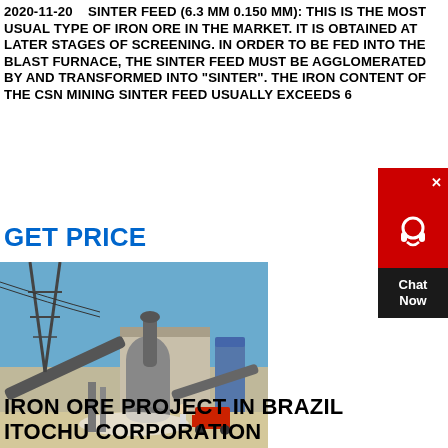2020-11-20    SINTER FEED (6.3 MM 0.150 MM): THIS IS THE MOST USUAL TYPE OF IRON ORE IN THE MARKET. IT IS OBTAINED AT LATER STAGES OF SCREENING. IN ORDER TO BE FED INTO THE BLAST FURNACE, THE SINTER FEED MUST BE AGGLOMERATED BY AND TRANSFORMED INTO "SINTER". THE IRON CONTENT OF THE CSN MINING SINTER FEED USUALLY EXCEEDS 6...
GET PRICE
[Figure (photo): Industrial sinter feed processing facility with large cylindrical mill, conveyor belts, and a red forklift in the background. Blue sky visible.]
IRON ORE PROJECT IN BRAZIL ITOCHU CORPORATION